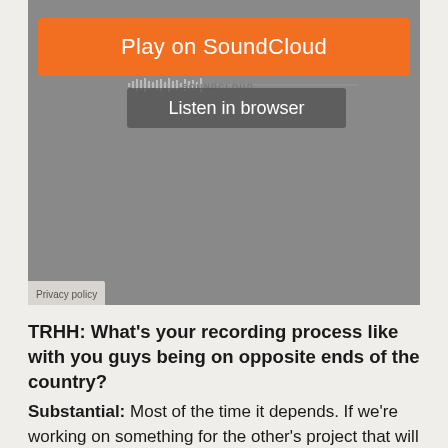[Figure (screenshot): SoundCloud embedded player widget with orange 'Play on SoundCloud' button, 'Listen in browser' button, waveform area, SoundCloud logo, and Privacy policy label at bottom left. Background is gray.]
TRHH: What's your recording process like with you guys being on opposite ends of the country?
Substantial: Most of the time it depends. If we're working on something for the other's project that will